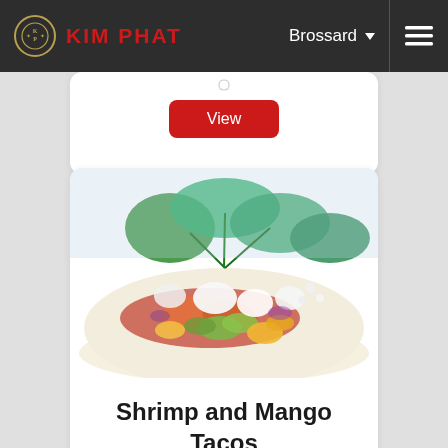KIM PHAT — Brossard
[Figure (screenshot): Partial white card with a red View button visible at top]
[Figure (photo): Photo of Shrimp and Mango Tacos topped with avocado, mango, sour cream, and fresh cilantro on a tortilla]
Shrimp and Mango Tacos
[Figure (other): Red View button at bottom of card]